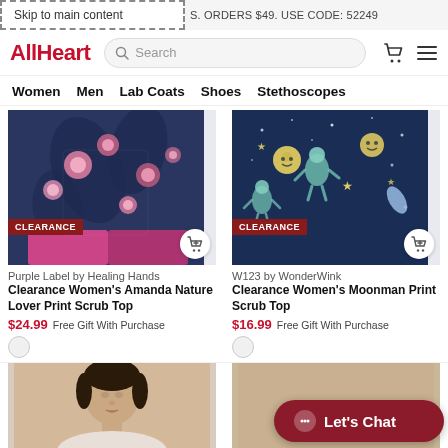Skip to main content | S. ORDERS $49. USE CODE: 52249
[Figure (logo): AllHeart logo in red]
Search
Women
Men
Lab Coats
Shoes
Stethoscopes
[Figure (photo): Clearance floral scrub top - Purple Label by Healing Hands]
Purple Label by Healing Hands
Clearance Women's Amanda Nature Lover Print Scrub Top
$24.99  Free Gift With Purchase
[Figure (photo): Clearance moonman print scrub top - W123 by WonderWink]
W123 by WonderWink
Clearance Women's Moonman Print Scrub Top
$16.99  Free Gift With Purchase
[Figure (photo): Model wearing scrubs - bottom of page left]
Let's Chat